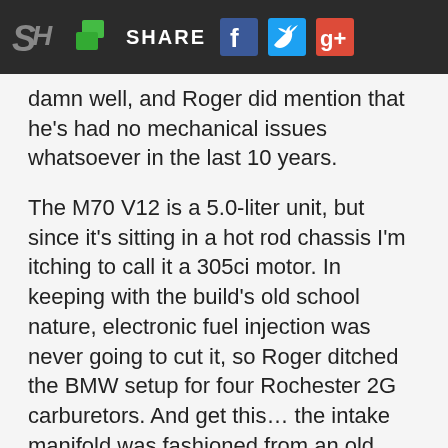SH | SHARE [social icons: Facebook, Twitter, Google+]
damn well, and Roger did mention that he's had no mechanical issues whatsoever in the last 10 years.
The M70 V12 is a 5.0-liter unit, but since it's sitting in a hot rod chassis I'm itching to call it a 305ci motor. In keeping with the build's old school nature, electronic fuel injection was never going to cut it, so Roger ditched the BMW setup for four Rochester 2G carburetors. And get this… the intake manifold was fashioned from an old school commercial hamburger press.